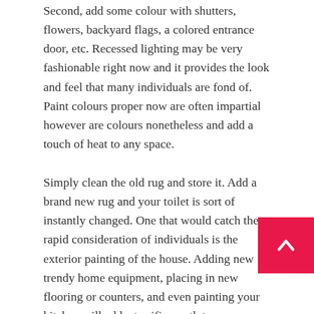Second, add some colour with shutters, flowers, backyard flags, a colored entrance door, etc. Recessed lighting may be very fashionable right now and it provides the look and feel that many individuals are fond of. Paint colours proper now are often impartial however are colours nonetheless and add a touch of heat to any space.
Simply clean the old rug and store it. Add a brand new rug and your toilet is sort of instantly changed. One that would catch the rapid consideration of individuals is the exterior painting of the house. Adding new trendy home equipment, placing in new flooring or counters, and even painting your kitchen will add a terrific worth to your overall investment.
Reasonably priced Hou Improvement Ideas